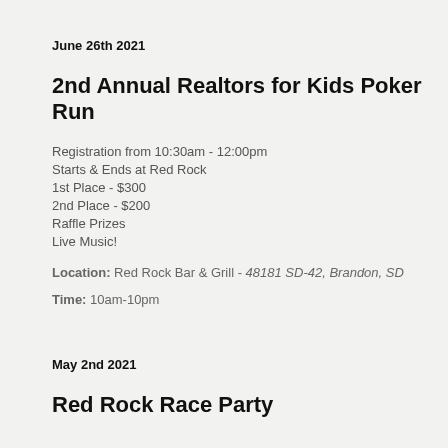June 26th 2021
2nd Annual Realtors for Kids Poker Run
Registration from 10:30am - 12:00pm
Starts & Ends at Red Rock
1st Place - $300
2nd Place - $200
Raffle Prizes
Live Music!
Location: Red Rock Bar & Grill - 48181 SD-42, Brandon, SD
Time: 10am-10pm
May 2nd 2021
Red Rock Race Party